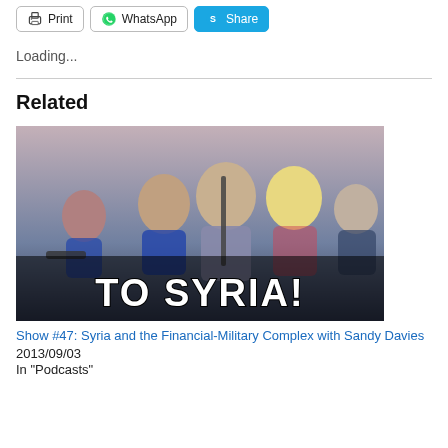Print
WhatsApp
Share
Loading...
Related
[Figure (photo): Movie poster style image showing puppet/doll characters holding weapons with text 'TO SYRIA!' overlaid in bold white letters.]
Show #47: Syria and the Financial-Military Complex with Sandy Davies
2013/09/03
In "Podcasts"